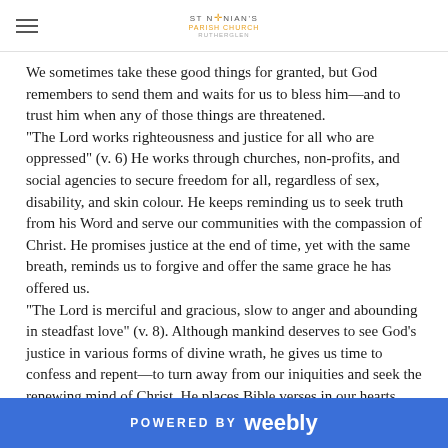ST NINIAN'S
We sometimes take these good things for granted, but God remembers to send them and waits for us to bless him—and to trust him when any of those things are threatened. "The Lord works righteousness and justice for all who are oppressed" (v. 6) He works through churches, non-profits, and social agencies to secure freedom for all, regardless of sex, disability, and skin colour. He keeps reminding us to seek truth from his Word and serve our communities with the compassion of Christ. He promises justice at the end of time, yet with the same breath, reminds us to forgive and offer the same grace he has offered us. "The Lord is merciful and gracious, slow to anger and abounding in steadfast love" (v. 8). Although mankind deserves to see God's justice in various forms of divine wrath, he gives us time to confess and repent—to turn away from our iniquities and seek the renewing mind of Christ. He places Bible verses in our hearts,
POWERED BY weebly